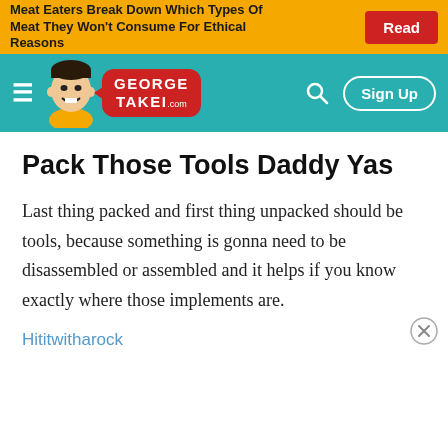Meat Eaters Break Down Which Types Of Meat They Won't Consume For Ethical Reasons
[Figure (screenshot): George Takei website navigation bar with teal background, cartoon avatar of George Takei, red speech bubble logo reading GEORGE TAKEI .com, hamburger menu, search icon, and Sign Up button]
Pack Those Tools Daddy Yas
Last thing packed and first thing unpacked should be tools, because something is gonna need to be disassembled or assembled and it helps if you know exactly where those implements are.
Hititwitharock